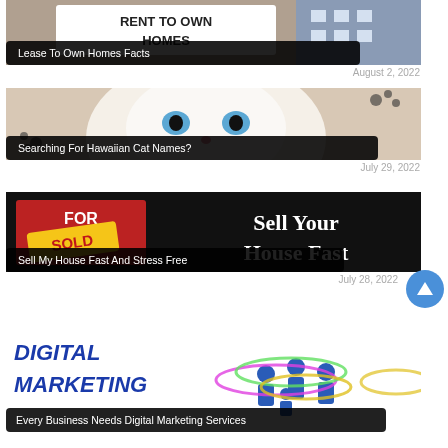[Figure (photo): Rent to own homes sign in front of a house]
Lease To Own Homes Facts
August 2, 2022
[Figure (photo): White cat with blue eyes close-up with paw prints]
Searching For Hawaiian Cat Names?
July 29, 2022
[Figure (photo): Sold real estate sign with Sell Your House Fast text]
Sell My House Fast And Stress Free
July 28, 2022
[Figure (photo): Digital Marketing graphic with people silhouettes and colorful rings]
Every Business Needs Digital Marketing Services